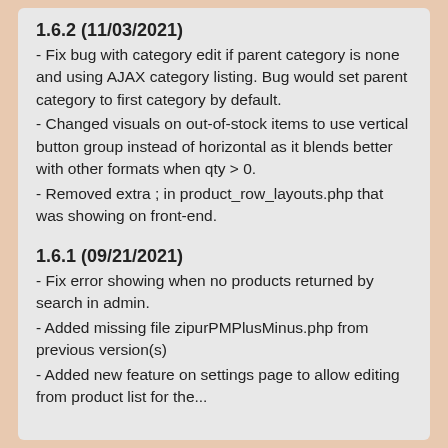1.6.2 (11/03/2021)
- Fix bug with category edit if parent category is none and using AJAX category listing. Bug would set parent category to first category by default.
- Changed visuals on out-of-stock items to use vertical button group instead of horizontal as it blends better with other formats when qty > 0.
- Removed extra ; in product_row_layouts.php that was showing on front-end.
1.6.1 (09/21/2021)
- Fix error showing when no products returned by search in admin.
- Added missing file zipurPMPlusMinus.php from previous version(s)
- Added new feature on settings page to allow editing from product list for the...